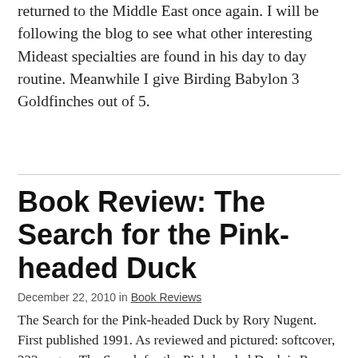returned to the Middle East once again. I will be following the blog to see what other interesting Mideast specialties are found in his day to day routine. Meanwhile I give Birding Babylon 3 Goldfinches out of 5.
Book Review: The Search for the Pink-headed Duck
December 22, 2010 in Book Reviews
The Search for the Pink-headed Duck by Rory Nugent. First published 1991. As reviewed and pictured: softcover, 223 pages. The Search for the Pink-headed Duck is Rory Nugent...